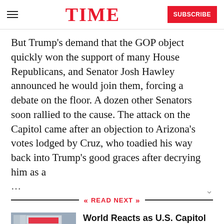TIME | SUBSCRIBE
But Trump's demand that the GOP object quickly won the support of many House Republicans, and Senator Josh Hawley announced he would join them, forcing a debate on the floor. A dozen other Senators soon rallied to the cause. The attack on the Capitol came after an objection to Arizona's votes lodged by Cruz, who toadied his way back into Trump's good graces after decrying him as a …
READ NEXT
[Figure (photo): Newspaper front pages stacked, showing headlines about U.S. Capitol breach]
World Reacts as U.S. Capitol Breached by Trump Supporters